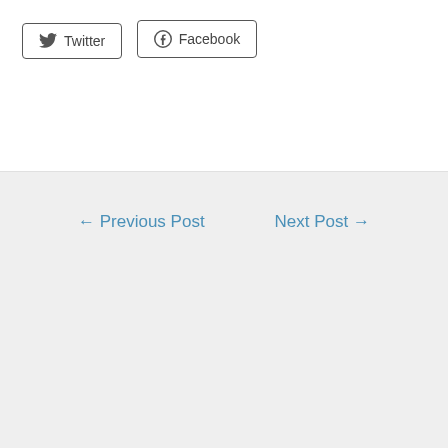Twitter  Facebook
← Previous Post    Next Post →